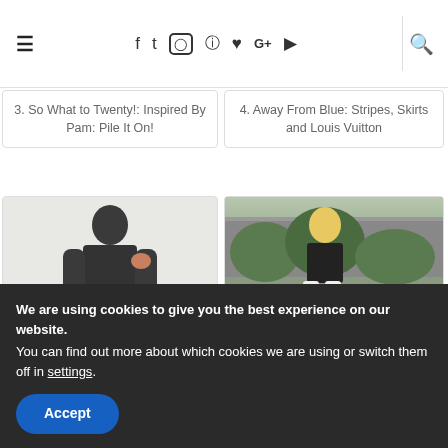Navigation bar with hamburger menu, social icons (Facebook, Twitter, Instagram, Pinterest, Heart, Google+, YouTube), and search icon
3. So What to Twenty!: Inspired By Pam: Pile It On!
4. Away From Blue: Stripes, Skirts and Louis Vuitton
[Figure (photo): Woman wearing dark monochromatic outfit, dark blazer and pants, standing against white curtain background]
[Figure (photo): Woman in black top and white wide-leg pants holding black bag, standing on wooden deck with greenery in background]
5. How To Kick Butt Wearing Monochromatic Over 40 - S...
6. Sydney Fashion Hunter: The Wednesday Posts - 35/52
We are using cookies to give you the best experience on our website.
You can find out more about which cookies we are using or switch them off in settings.